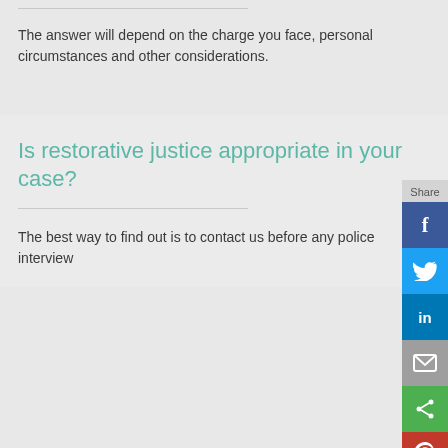The answer will depend on the charge you face, personal circumstances and other considerations.
Is restorative justice appropriate in your case?
The best way to find out is to contact us before any police interview